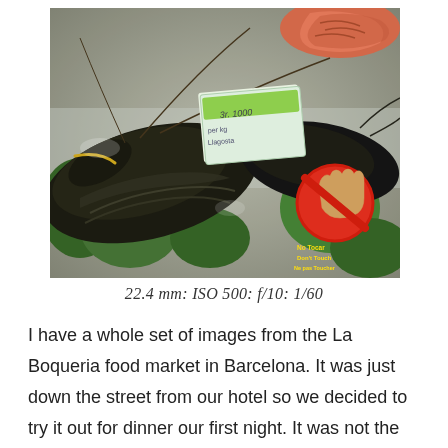[Figure (photo): A photo of live lobsters displayed on ice at La Boqueria food market in Barcelona. A price tag and a red 'No Tocar / Don't Touch / Ne pas Toucher' sign are visible among the shellfish. Shrimp are visible in the top right corner with green kale/seaweed decoration.]
22.4 mm: ISO 500: f/10: 1/60
I have a whole set of images from the La Boqueria food market in Barcelona. It was just down the street from our hotel so we decided to try it out for dinner our first night. It was not the best for trying to get a meal as there was nowhere to sit with kids so we